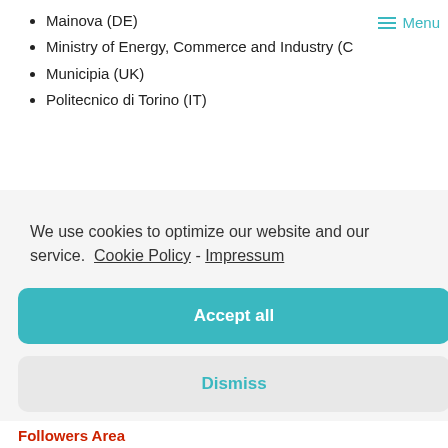Mainova (DE)
Ministry of Energy, Commerce and Industry (C…)
Municipia (UK)
Politecnico di Torino (IT)
We use cookies to optimize our website and our service.  Cookie Policy - Impressum
Accept all
Dismiss
Preferences
Followers Area